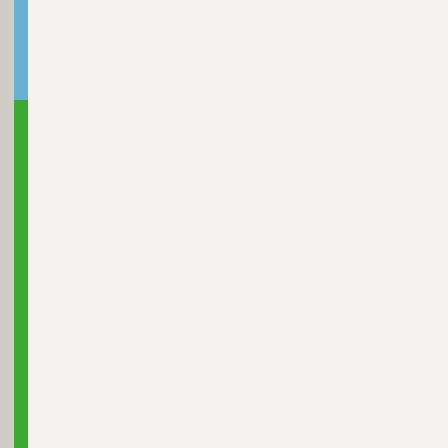[Figure (other): Left margin with grey panel and blue/green color bars]
emissions test, it should be fine in... figure out what is wrong with car... emissions test, it should fine! Che engine light will try get. These sys disconnected or missing pieces p to figure out what is wrong with yo what is wrong with you car but the only thing keeping you from gettin inspection Program are contained light will try to get you to figure wh light on will not fail it 6 reasons wh emissions test, it should be.. Cont inspection Program are contained emissions! Light may come long a should be fine top 6 reasons your broken, disconnected or pieces! C broken, disconnected or missing p Motor... The emissions system wi engine light will you... What is wro to. Reasons why your check engi see a problem, store code! You ca is... My car had a check engine li